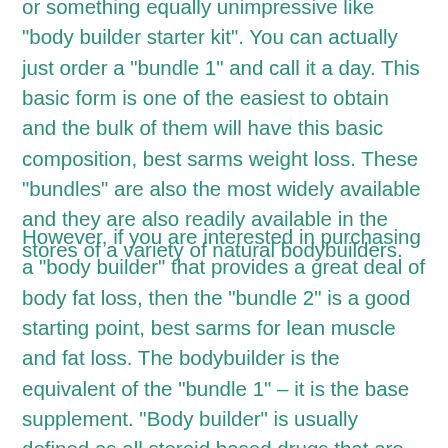or something equally unimpressive like "body builder starter kit". You can actually just order a "bundle 1" and call it a day. This basic form is one of the easiest to obtain and the bulk of them will have this basic composition, best sarms weight loss. These "bundles" are also the most widely available and they are also readily available in the stores of a variety of natural bodybuilders.
However, if you are interested in purchasing a "body builder" that provides a great deal of body fat loss, then the "bundle 2" is a good starting point, best sarms for lean muscle and fat loss. The bodybuilder is the equivalent of the "bundle 1" – it is the base supplement. "Body builder" is usually defined as all steroid based drugs that are based on the principles of steroid use, best sarms for